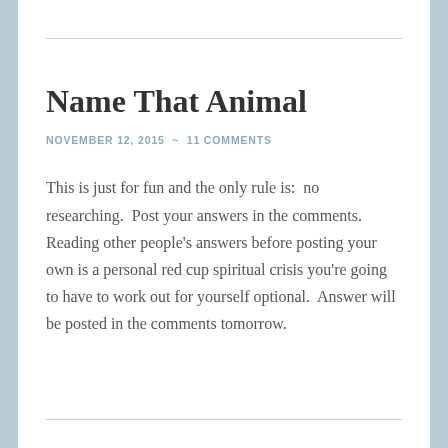Name That Animal
NOVEMBER 12, 2015  ~  11 COMMENTS
This is just for fun and the only rule is:  no researching.  Post your answers in the comments.  Reading other people's answers before posting your own is a personal red cup spiritual crisis you're going to have to work out for yourself optional.  Answer will be posted in the comments tomorrow.